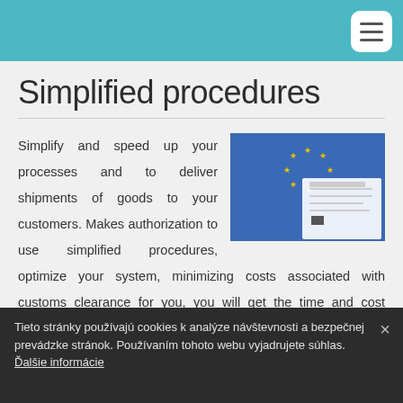Simplified procedures
[Figure (photo): EU flag and customs document/shipping form photo]
Simplify and speed up your processes and to deliver shipments of goods to your customers. Makes authorization to use simplified procedures, optimize your system, minimizing costs associated with customs clearance for you, you will get the time and cost savings, run your logistics companies and will be smoother and more efficient.
Customs proceedings begin with the filing of the declaration. Submission
Tieto stránky používajú cookies k analýze návštevnosti a bezpečnej prevádzke stránok. Používaním tohoto webu vyjadrujete súhlas. Ďalšie informácie